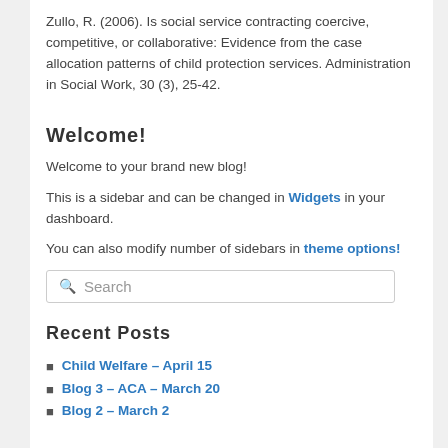Zullo, R. (2006). Is social service contracting coercive, competitive, or collaborative: Evidence from the case allocation patterns of child protection services. Administration in Social Work, 30 (3), 25-42.
Welcome!
Welcome to your brand new blog!
This is a sidebar and can be changed in Widgets in your dashboard.
You can also modify number of sidebars in theme options!
[Figure (other): Search input box with magnifying glass icon and placeholder text 'Search']
Recent Posts
Child Welfare – April 15
Blog 3 – ACA – March 20
Blog 2 – March 2